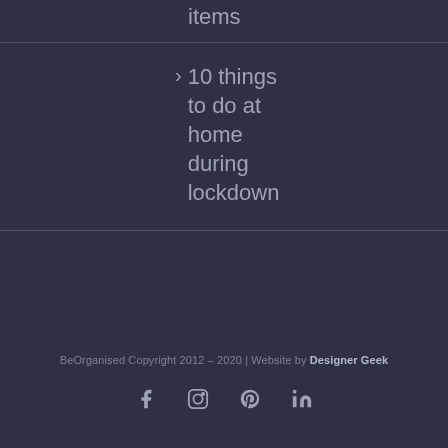items
> 10 things to do at home during lockdown
BeOrganised Copyright 2012 – 2020 | Website by Designer Geek